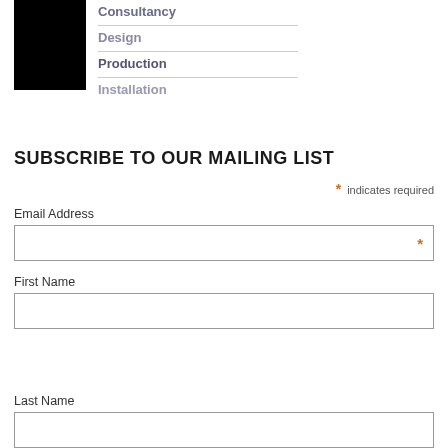[Figure (logo): Black square logo next to a navigation list with items: Consultancy, Design, Production, Installation]
SUBSCRIBE TO OUR MAILING LIST
* indicates required
Email Address
First Name
Last Name